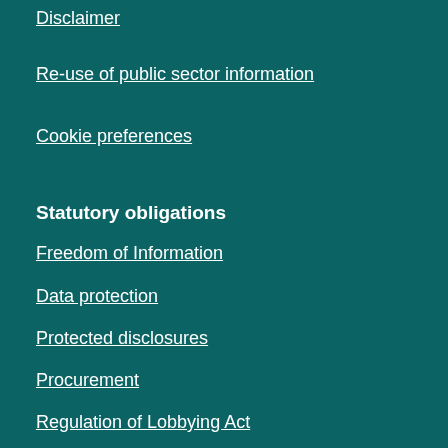Disclaimer
Re-use of public sector information
Cookie preferences
Statutory obligations
Freedom of Information
Data protection
Protected disclosures
Procurement
Regulation of Lobbying Act
Official Languages Act
Child Safeguarding Statement
Assist us